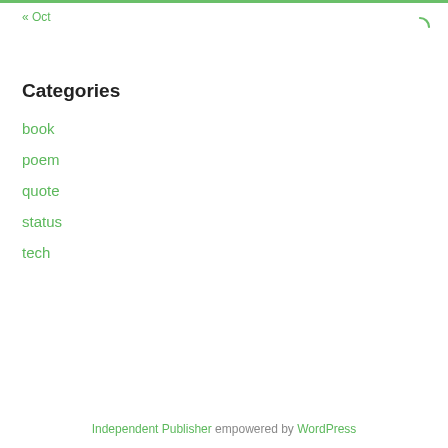« Oct
Categories
book
poem
quote
status
tech
Independent Publisher empowered by WordPress